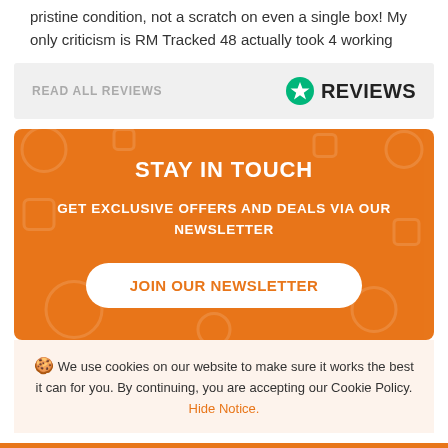pristine condition, not a scratch on even a single box! My only criticism is RM Tracked 48 actually took 4 working
READ ALL REVIEWS
[Figure (logo): Trustpilot green star circle badge with REVIEWS text]
STAY IN TOUCH
GET EXCLUSIVE OFFERS AND DEALS VIA OUR NEWSLETTER
JOIN OUR NEWSLETTER
We use cookies on our website to make sure it works the best it can for you. By continuing, you are accepting our Cookie Policy. Hide Notice.